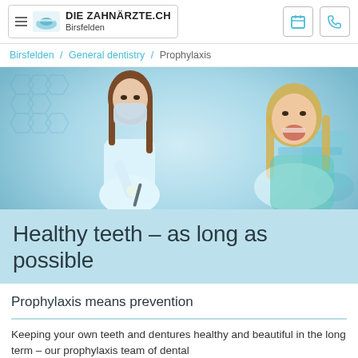DIE ZAHNÄRZTE.CH Birsfelden
Birsfelden / General dentistry / Prophylaxis
[Figure (photo): Dental professional in mask treating a female patient in a dental chair; professional wears gloves and holds dental instrument; patient has blonde hair and mouth open; clinical dental office setting.]
Healthy teeth – as long as possible
Prophylaxis means prevention
Keeping your own teeth and dentures healthy and beautiful in the long term – our prophylaxis team of dental